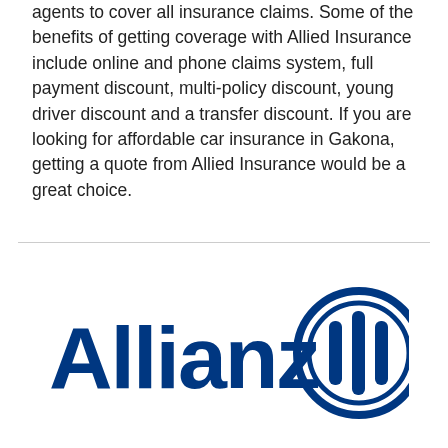agents to cover all insurance claims. Some of the benefits of getting coverage with Allied Insurance include online and phone claims system, full payment discount, multi-policy discount, young driver discount and a transfer discount. If you are looking for affordable car insurance in Gakona, getting a quote from Allied Insurance would be a great choice.
[Figure (logo): Allianz logo — bold blue 'Allianz' wordmark with the Allianz eagle/bars circular symbol to the right, in dark navy blue.]